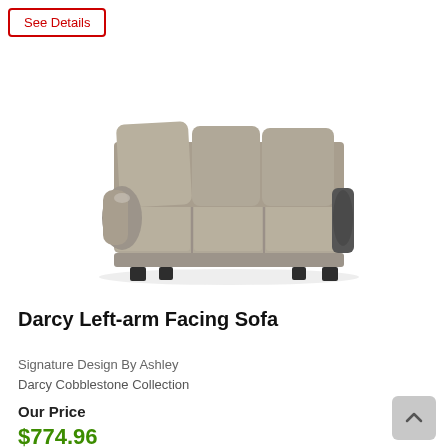See Details
[Figure (photo): Darcy Left-arm Facing Sofa in cobblestone/gray fabric, three-seat sectional sofa with rolled arms and dark wood legs, photographed on white background]
Darcy Left-arm Facing Sofa
Signature Design By Ashley
Darcy Cobblestone Collection
Our Price
$774.96